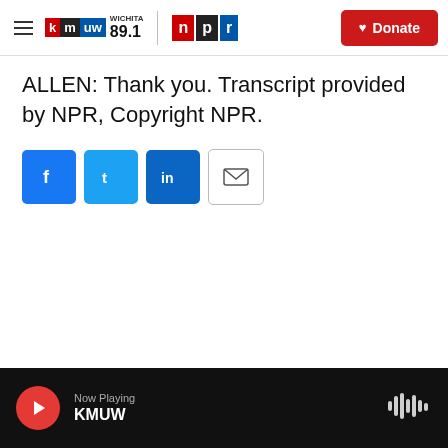KMUW Wichita 89.1 | NPR | Donate
ALLEN: Thank you. Transcript provided by NPR, Copyright NPR.
[Figure (other): Social sharing buttons: Facebook, Twitter, LinkedIn, Email]
Now Playing KMUW